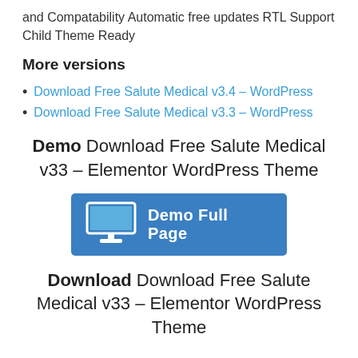and Compatability Automatic free updates RTL Support Child Theme Ready
More versions
Download Free Salute Medical v3.4 – WordPress
Download Free Salute Medical v3.3 – WordPress
Demo Download Free Salute Medical v33 – Elementor WordPress Theme
[Figure (other): Blue button with monitor icon and text 'Demo Full Page']
Download Download Free Salute Medical v33 – Elementor WordPress Theme